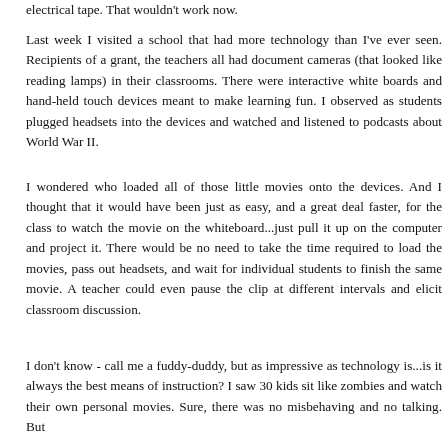electrical tape. That wouldn't work now.
Last week I visited a school that had more technology than I've ever seen. Recipients of a grant, the teachers all had document cameras (that looked like reading lamps) in their classrooms. There were interactive white boards and hand-held touch devices meant to make learning fun. I observed as students plugged headsets into the devices and watched and listened to podcasts about World War II.
I wondered who loaded all of those little movies onto the devices. And I thought that it would have been just as easy, and a great deal faster, for the class to watch the movie on the whiteboard...just pull it up on the computer and project it. There would be no need to take the time required to load the movies, pass out headsets, and wait for individual students to finish the same movie. A teacher could even pause the clip at different intervals and elicit classroom discussion.
I don't know - call me a fuddy-duddy, but as impressive as technology is...is it always the best means of instruction? I saw 30 kids sit like zombies and watch their own personal movies. Sure, there was no misbehaving and no talking. But